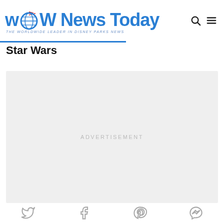WDW News Today - THE WORLDWIDE LEADER IN DISNEY PARKS NEWS
Star Wars
[Figure (other): Advertisement placeholder box with light gray background and 'ADVERTISEMENT' text centered]
[Figure (other): Social media sharing icons row: Twitter, Facebook, Pinterest, Messenger]